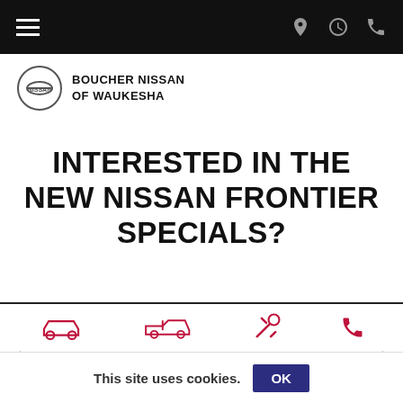Navigation bar with hamburger menu and location/hours/phone icons
[Figure (logo): Boucher Nissan of Waukesha logo with Nissan circular emblem and dealer name]
INTERESTED IN THE NEW NISSAN FRONTIER SPECIALS?
First Name*
First Name* (input field placeholder)
[Figure (infographic): Bottom navigation icons: car (new), pickup truck (used), wrench/tools (service), phone (contact)]
This site uses cookies. OK